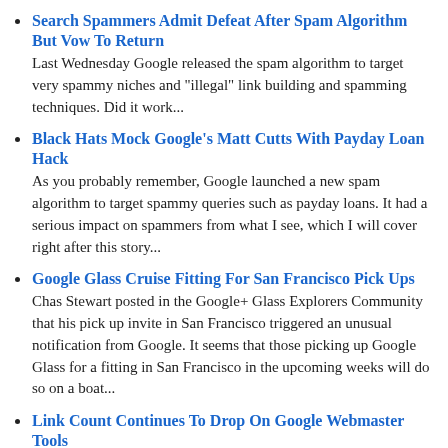Search Spammers Admit Defeat After Spam Algorithm But Vow To Return
Last Wednesday Google released the spam algorithm to target very spammy niches and "illegal" link building and spamming techniques. Did it work...
Black Hats Mock Google's Matt Cutts With Payday Loan Hack
As you probably remember, Google launched a new spam algorithm to target spammy queries such as payday loans. It had a serious impact on spammers from what I see, which I will cover right after this story...
Google Glass Cruise Fitting For San Francisco Pick Ups
Chas Stewart posted in the Google+ Glass Explorers Community that his pick up invite in San Francisco triggered an unusual notification from Google. It seems that those picking up Google Glass for a fitting in San Francisco in the upcoming weeks will do so on a boat...
Link Count Continues To Drop On Google Webmaster Tools
Last Wednesday we reported complaints in the forums of webmasters noticing their links are dropping within Google Webmaster Tools. In short, the links shown in Google Webmaster Tools today versus two weeks ago was a fraction of the number. Well...